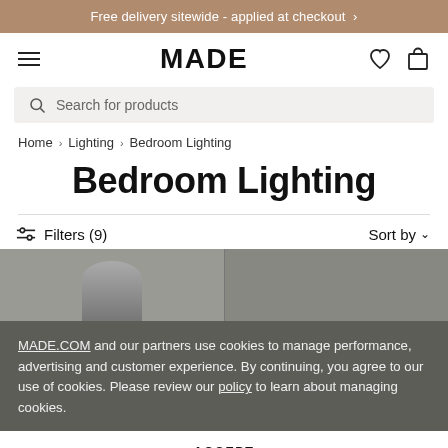Free delivery sitewide - applied at checkout >
[Figure (logo): MADE.COM logo with hamburger menu, heart icon, and bag icon]
Search for products
Home > Lighting > Bedroom Lighting
Bedroom Lighting
Filters (9)   Sort by
MADE.COM and our partners use cookies to manage performance, advertising and customer experience. By continuing, you agree to our use of cookies. Please review our policy to learn about managing cookies.
ACCEPT